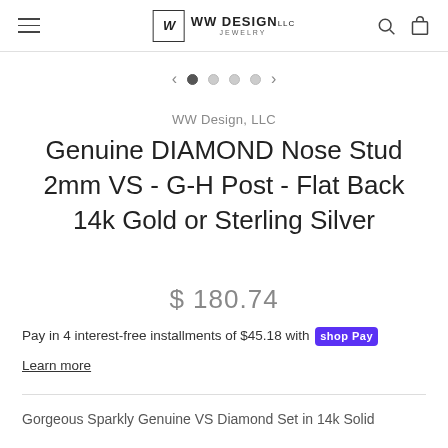WW Design, LLC
Genuine DIAMOND Nose Stud 2mm VS - G-H Post - Flat Back 14k Gold or Sterling Silver
WW Design, LLC
$ 180.74
Pay in 4 interest-free installments of $45.18 with shop Pay
Learn more
Gorgeous Sparkly Genuine VS Diamond Set in 14k Solid